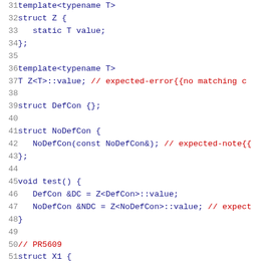[Figure (screenshot): C++ source code snippet showing lines 31-51 with syntax highlighting. Lines include template struct Z with static value, template specialization with expected-error comment, struct DefCon, struct NoDefCon with constructor and expected-note comment, void test function with DefCon and NoDefCon references, PR5609 comment, and start of struct X1.]